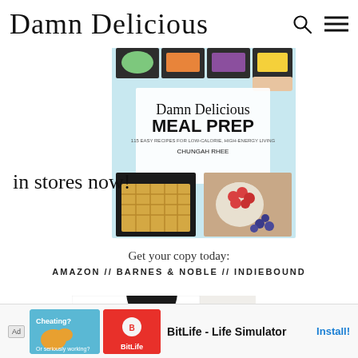Damn Delicious
[Figure (photo): Book cover of 'Damn Delicious Meal Prep' by Chungah Rhee with 'in stores now!' text overlay and photo of meal prep containers with waffles and berries]
Get your copy today:
AMAZON // BARNES & NOBLE // INDIEBOUND
[Figure (photo): Partial photo of a person (author) with dark hair in a kitchen with sunflowers]
[Figure (other): Ad banner: BitLife - Life Simulator with Install! button]